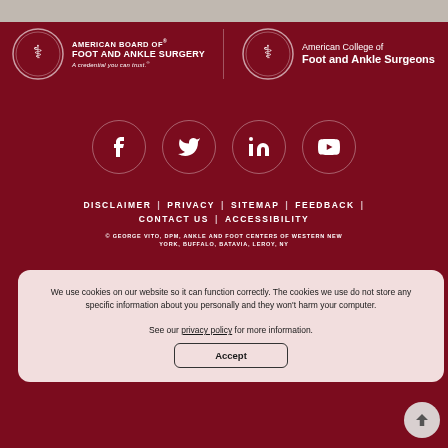[Figure (logo): American Board of Foot and Ankle Surgery logo with circular seal and text]
[Figure (logo): American College of Foot and Ankle Surgeons logo with circular seal and text]
[Figure (infographic): Social media icons row: Facebook, Twitter, LinkedIn, YouTube - white icons in dark red circles]
DISCLAIMER | PRIVACY | SITEMAP | FEEDBACK | CONTACT US | ACCESSIBILITY
© GEORGE VITO, DPM, ANKLE AND FOOT CENTERS OF WESTERN NEW YORK, BUFFALO, BATAVIA, LEROY, NY
We use cookies on our website so it can function correctly. The cookies we use do not store any specific information about you personally and they won't harm your computer. See our privacy policy for more information.
Accept
Your Practice Online